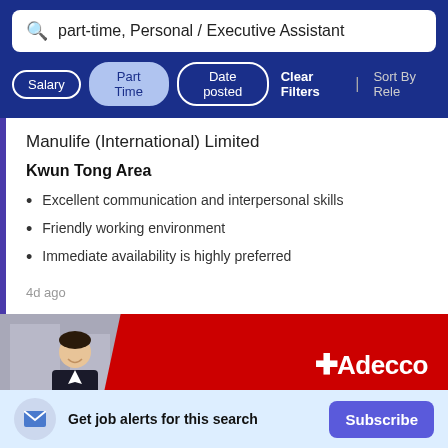part-time, Personal / Executive Assistant
Salary | Part Time | Date posted | Clear Filters | Sort By Rele
Manulife (International) Limited
Kwun Tong Area
Excellent communication and interpersonal skills
Friendly working environment
Immediate availability is highly preferred
4d ago
[Figure (photo): Adecco banner with photo of smiling man in suit and Adecco logo on red background]
Get job alerts for this search Subscribe